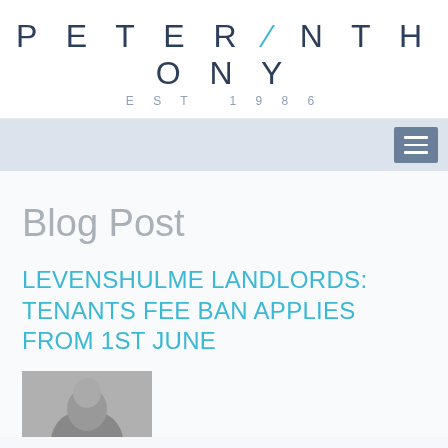PETER ANTHONY EST 1986
Blog Post
LEVENSHULME LANDLORDS: TENANTS FEE BAN APPLIES FROM 1ST JUNE
[Figure (photo): Black and white portrait photo, partially visible at bottom of page]